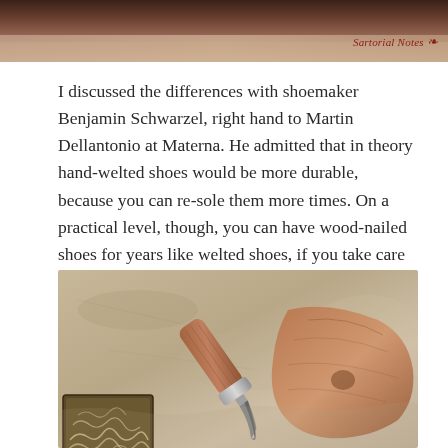[Figure (photo): Top portion of a photo showing shoemaking tools or leather materials with brown/tan tones, cropped at the top of the page.]
Sartorial Notes
I discussed the differences with shoemaker Benjamin Schwarzel, right hand to Martin Dellantonio at Materna. He admitted that in theory hand-welted shoes would be more durable, because you can re-sole them more times. On a practical level, though, you can have wood-nailed shoes for years like welted shoes, if you take care of them.
[Figure (photo): A close-up photo of shoemaking tools on a stone surface: a curved awl or stitching tool with a wooden handle, and a wooden shoe last (foot-shaped form). A small wooden box with wood shavings is visible at the bottom left.]